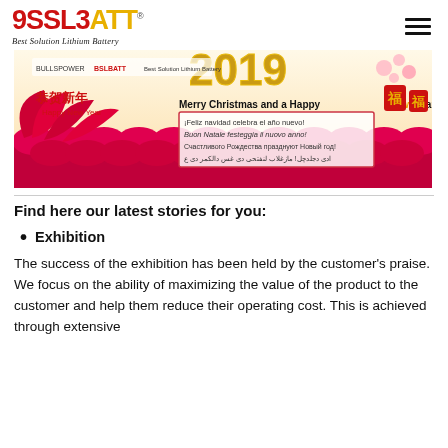BSLBATT® Best Solution Lithium Battery
[Figure (illustration): Chinese New Year 2019 banner with Merry Christmas and Happy New Year greetings in multiple languages including Spanish, Italian, Russian, and Arabic. Features Chinese decorations, red fans, pink flowers, and gold 2019 text.]
Find here our latest stories for you:
Exhibition
The success of the exhibition has been held by the customer's praise. We focus on the ability of maximizing the value of the product to the customer and help them reduce their operating cost. This is achieved through extensive